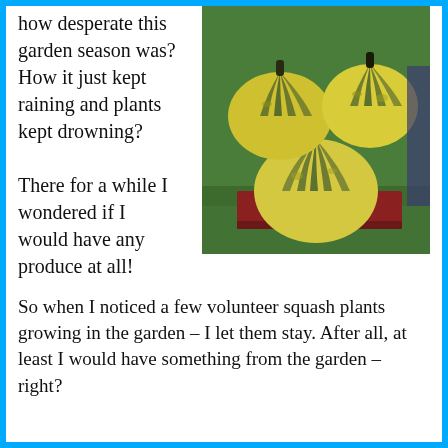how desperate this garden season was? How it just kept raining and plants kept drowning?
[Figure (photo): Photo of several yellow and green striped squash/gourds stacked on a red wooden platform on grass]
There for a while I wondered if I would have any produce at all!
So when I noticed a few volunteer squash plants growing in the garden – I let them stay. After all, at least I would have something from the garden – right?